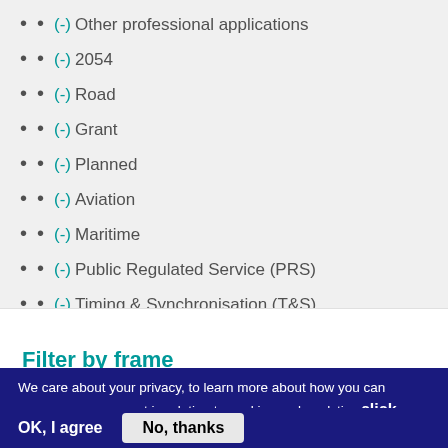(-) Other professional applications
(-) 2054
(-) Road
(-) Grant
(-) Planned
(-) Aviation
(-) Maritime
(-) Public Regulated Service (PRS)
(-) Timing & Synchronisation (T&S)
(-) 1389
(-) Fisheries and Aquaculture
Filter by frame
We care about your privacy, to learn more about how you can manage your consent in relation to cookies and analytics click here
OK, I agree
No, thanks